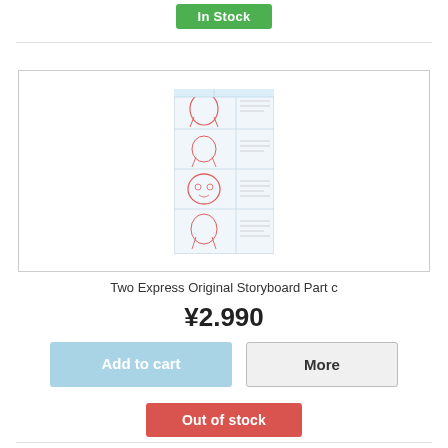In Stock
[Figure (illustration): Anime storyboard page with multiple panels showing character sketches in red pencil on blue-lined paper]
Two Express Original Storyboard Part c
¥2.990
Add to cart
More
Out of stock